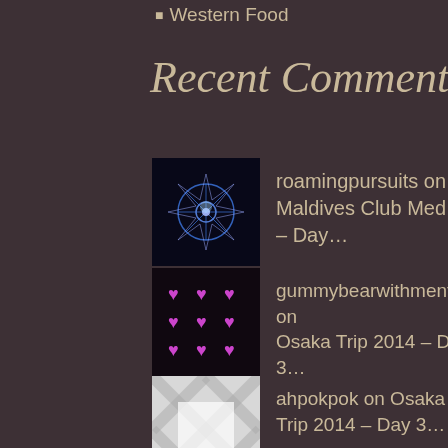Western Food
Recent Comments
roamingpursuits on Maldives Club Med – Day…
gummybearwithmenthol… on Osaka Trip 2014 – Day 3…
ahpokpok on Osaka Trip 2014 – Day 3…
gummybearwithmenthol… on Osaka Trip 2014 – Day 3…